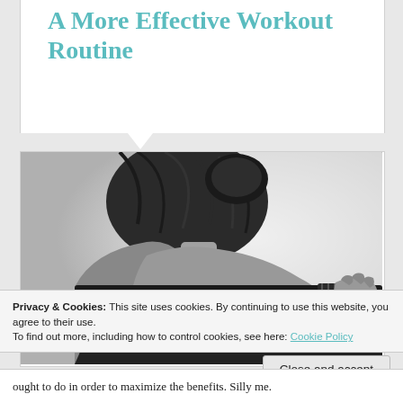A More Effective Workout Routine
[Figure (photo): Black and white photo of a woman from behind holding a barbell across her shoulders, with hair up in a bun, wearing athletic clothing with a wing logo]
Privacy & Cookies: This site uses cookies. By continuing to use this website, you agree to their use.
To find out more, including how to control cookies, see here: Cookie Policy
Close and accept
ought to do in order to maximize the benefits. Silly me.